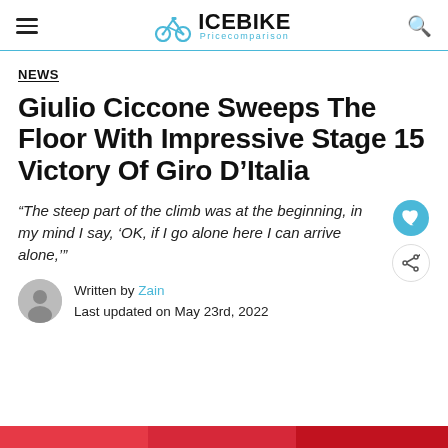ICEBIKE Pricecomparison
NEWS
Giulio Ciccone Sweeps The Floor With Impressive Stage 15 Victory Of Giro D'Italia
“The steep part of the climb was at the beginning, in my mind I say, ‘OK, if I go alone here I can arrive alone,’”
Written by Zain
Last updated on May 23rd, 2022